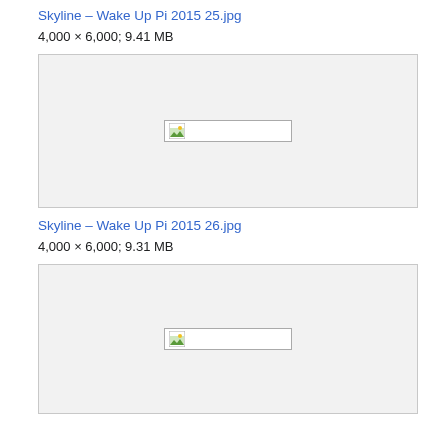Skyline – Wake Up Pi 2015 25.jpg
4,000 × 6,000; 9.41 MB
[Figure (photo): Broken image placeholder thumbnail for Skyline – Wake Up Pi 2015 25.jpg]
Skyline – Wake Up Pi 2015 26.jpg
4,000 × 6,000; 9.31 MB
[Figure (photo): Broken image placeholder thumbnail for Skyline – Wake Up Pi 2015 26.jpg]